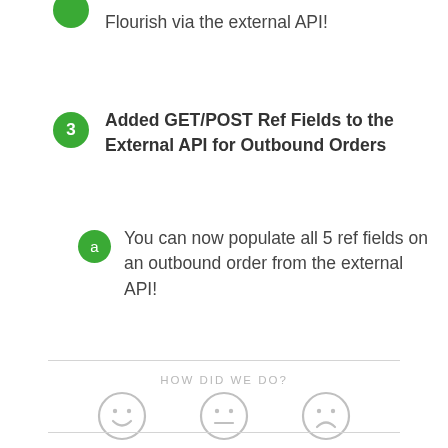Flourish via the external API!
Added GET/POST Ref Fields to the External API for Outbound Orders
You can now populate all 5 ref fields on an outbound order from the external API!
HOW DID WE DO?
[Figure (infographic): Three feedback face icons: happy (smiley), neutral, and sad face, rendered as circle outlines with face expressions in gray.]